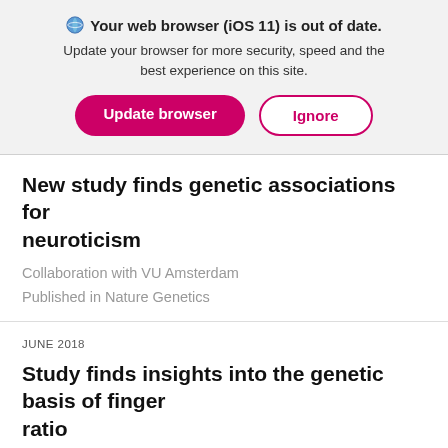🌐 Your web browser (iOS 11) is out of date. Update your browser for more security, speed and the best experience on this site.
Update browser
Ignore
New study finds genetic associations for neuroticism
Collaboration with VU Amsterdam
Published in Nature Genetics
JUNE 2018
Study finds insights into the genetic basis of finger ratio
Collaboration with the Broad Institute
Published in Human Molecular Genetics